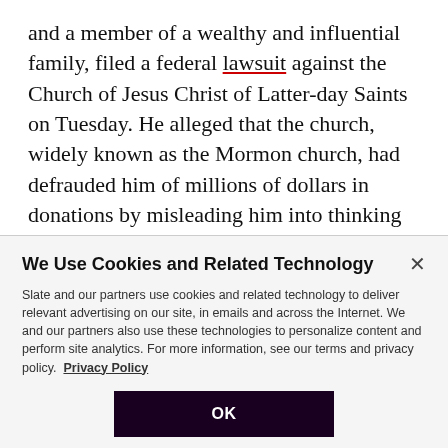and a member of a wealthy and influential family, filed a federal lawsuit against the Church of Jesus Christ of Latter-day Saints on Tuesday. He alleged that the church, widely known as the Mormon church, had defrauded him of millions of dollars in donations by misleading him into thinking his money would be spent on charitable causes. Why is a member of one of Utah's most prominent families accusing the church of fraud?
We Use Cookies and Related Technology
Slate and our partners use cookies and related technology to deliver relevant advertising on our site, in emails and across the Internet. We and our partners also use these technologies to personalize content and perform site analytics. For more information, see our terms and privacy policy. Privacy Policy